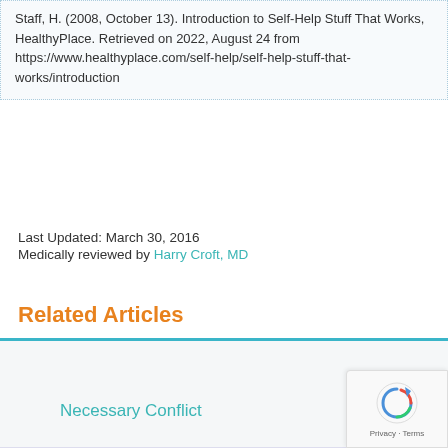Staff, H. (2008, October 13). Introduction to Self-Help Stuff That Works, HealthyPlace. Retrieved on 2022, August 24 from https://www.healthyplace.com/self-help/self-help-stuff-that-works/introduction
Last Updated: March 30, 2016
Medically reviewed by Harry Croft, MD
Related Articles
Necessary Conflict